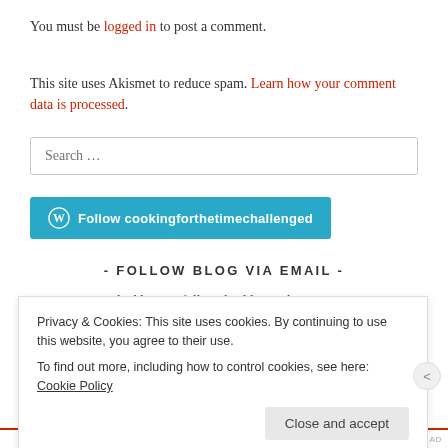You must be logged in to post a comment.
This site uses Akismet to reduce spam. Learn how your comment data is processed.
[Figure (other): Search box with placeholder text 'Search …']
[Figure (other): Follow cookingforthetimechallenged button with WordPress icon, teal/blue background]
- FOLLOW BLOG VIA EMAIL -
Enter your email address to follow this blog and receive
Privacy & Cookies: This site uses cookies. By continuing to use this website, you agree to their use.
To find out more, including how to control cookies, see here: Cookie Policy
Close and accept